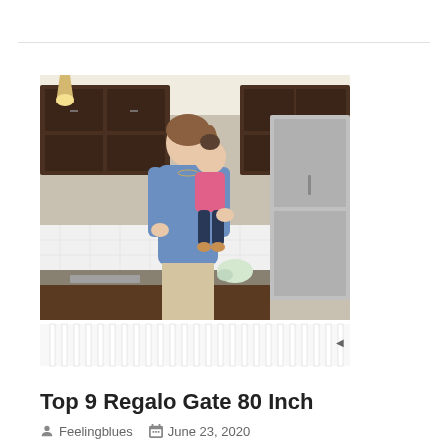[Figure (photo): A woman in a blue sweater holding a baby/toddler in a pink shirt, standing in a kitchen with dark wood cabinets and stainless steel appliances. A white baby gate (Regalo brand) spans the bottom foreground of the image.]
Top 9 Regalo Gate 80 Inch
Feelingblues   June 23, 2020